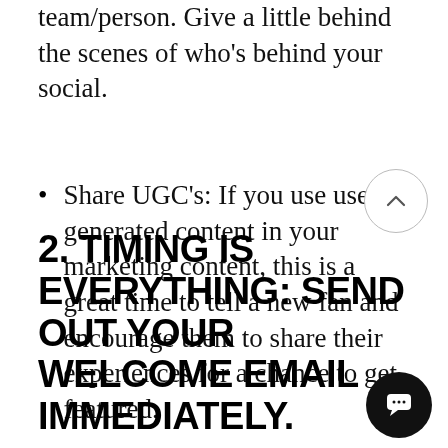team/person. Give a little behind the scenes of who's behind your social.
Share UGC's: If you use user generated content in your marketing content, this is a great time to tell a new fan and encourage them to share their experiences for a chance to get featured.
2. TIMING IS EVERYTHING: SEND OUT YOUR WELCOME EMAIL IMMEDIATELY.